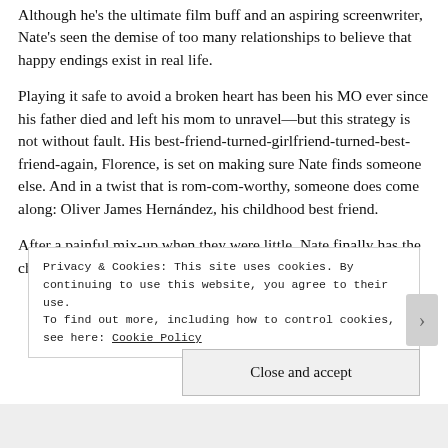Although he's the ultimate film buff and an aspiring screenwriter, Nate's seen the demise of too many relationships to believe that happy endings exist in real life.
Playing it safe to avoid a broken heart has been his MO ever since his father died and left his mom to unravel—but this strategy is not without fault. His best-friend-turned-girlfriend-turned-best-friend-again, Florence, is set on making sure Nate finds someone else. And in a twist that is rom-com-worthy, someone does come along: Oliver James Hernández, his childhood best friend.
After a painful mix-up when they were little, Nate finally has the chance to tell Ollie the truth about his feelings. But
Privacy & Cookies: This site uses cookies. By continuing to use this website, you agree to their use.
To find out more, including how to control cookies, see here: Cookie Policy
Close and accept